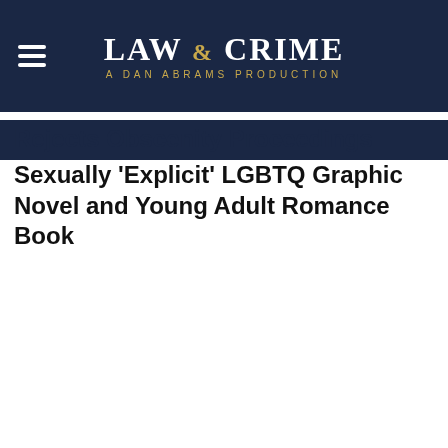[Figure (logo): Law & Crime - A Dan Abrams Production logo on dark navy background with hamburger menu icon]
Rejects Obscenity Proceedings Against Sexually 'Explicit' LGBTQ Graphic Novel and Young Adult Romance Book